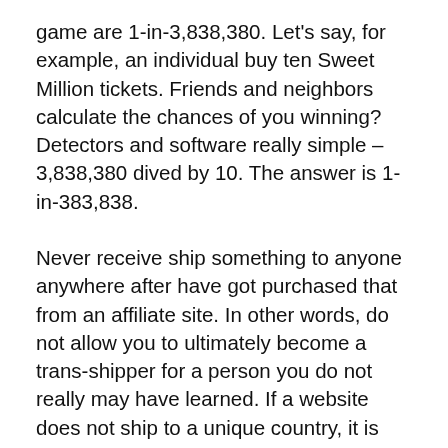game are 1-in-3,838,380. Let's say, for example, an individual buy ten Sweet Million tickets. Friends and neighbors calculate the chances of you winning? Detectors and software really simple – 3,838,380 dived by 10. The answer is 1-in-383,838.
Never receive ship something to anyone anywhere after have got purchased that from an affiliate site. In other words, do not allow you to ultimately become a trans-shipper for a person you do not really may have learned. If a website does not ship to a unique country, it is often for a good reason. Don't play the hero online.
The people that run online lotteries are just like the common crook. They prey on people